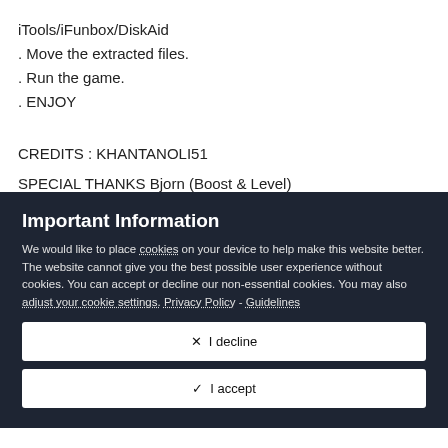iTools/iFunbox/DiskAid
. Move the extracted files.
. Run the game.
. ENJOY
CREDITS : KHANTANOLI51
SPECIAL THANKS Bjorn (Boost & Level)
Important Information
We would like to place cookies on your device to help make this website better. The website cannot give you the best possible user experience without cookies. You can accept or decline our non-essential cookies. You may also adjust your cookie settings. Privacy Policy - Guidelines
✕  I decline
✓  I accept